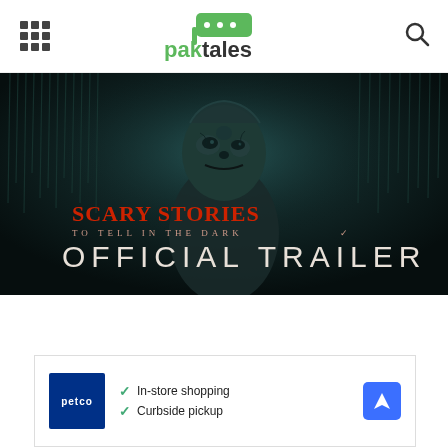paktales
[Figure (screenshot): Scary Stories to Tell in the Dark – Official Trailer movie thumbnail showing a grotesque monster figure with text 'SCARY STORIES TO TELL IN THE DARK OFFICIAL TRAILER']
[Figure (infographic): Petco advertisement showing Petco logo with checkmarks for 'In-store shopping' and 'Curbside pickup' and a blue navigation arrow icon]